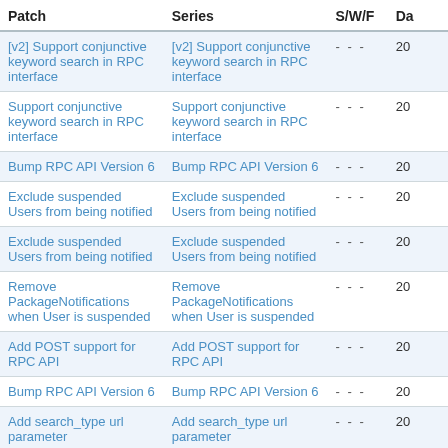| Patch | Series | S/W/F | Da |
| --- | --- | --- | --- |
| [v2] Support conjunctive keyword search in RPC interface | [v2] Support conjunctive keyword search in RPC interface | - - - | 20 |
| Support conjunctive keyword search in RPC interface | Support conjunctive keyword search in RPC interface | - - - | 20 |
| Bump RPC API Version 6 | Bump RPC API Version 6 | - - - | 20 |
| Exclude suspended Users from being notified | Exclude suspended Users from being notified | - - - | 20 |
| Exclude suspended Users from being notified | Exclude suspended Users from being notified | - - - | 20 |
| Remove PackageNotifications when User is suspended | Remove PackageNotifications when User is suspended | - - - | 20 |
| Add POST support for RPC API | Add POST support for RPC API | - - - | 20 |
| Bump RPC API Version 6 | Bump RPC API Version 6 | - - - | 20 |
| Add search_type url parameter | Add search_type url parameter | - - - | 20 |